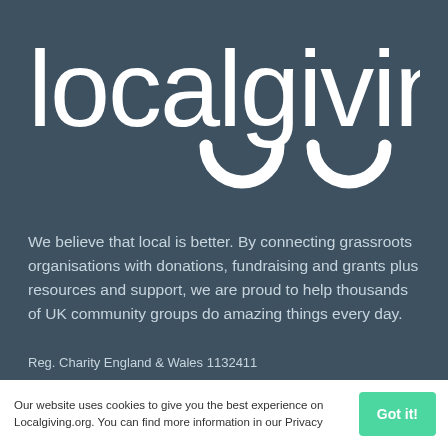[Figure (logo): Localgiving logo — white text 'localgiving' with two arc/arch symbols beneath the letters 'gi' and 'ng', on a dark teal-grey background]
We believe that local is better. By connecting grassroots organisations with donations, fundraising and grants plus resources and support, we are proud to help thousands of UK community groups do amazing things every day.
Reg. Charity England & Wales 1132411
Reg. Charity Scotland SC047395
Reg. Company 07111208
Recent tweets
@Localgiving RT @PennineMencap: Thankyou to the players of
Our website uses cookies to give you the best experience on Localgiving.org. You can find more information in our Privacy